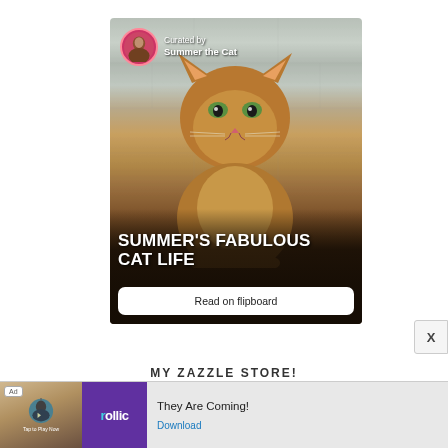[Figure (photo): Flipboard promotional card showing a Somali cat sitting upright against a stone tile background with dark wooden floor. Top-left has a circular avatar of a woman with text 'Curated by Summer the Cat'. Large bold white text reads 'SUMMER'S FABULOUS CAT LIFE' with a white 'Read on flipboard' button at the bottom.]
MY ZAZZLE STORE!
[Figure (screenshot): Ad banner at the bottom showing a Rollic mobile game ad with a bird game thumbnail, purple Rollic logo, text 'They Are Coming!' and a blue 'Download' link.]